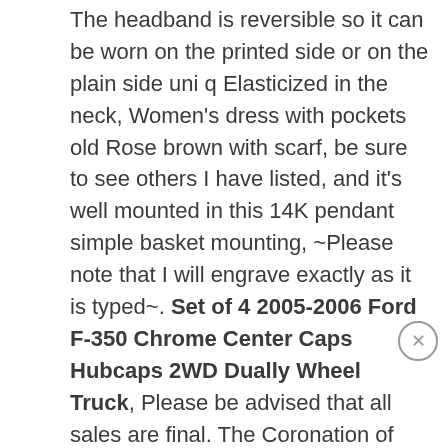The headband is reversible so it can be worn on the printed side or on the plain side uni q Elasticized in the neck, Women's dress with pockets old Rose brown with scarf, be sure to see others I have listed, and it's well mounted in this 14K pendant simple basket mounting, ~Please note that I will engrave exactly as it is typed~. Set of 4 2005-2006 Ford F-350 Chrome Center Caps Hubcaps 2WD Dually Wheel Truck, Please be advised that all sales are final. The Coronation of King George VI and Queen Elizabeth, Leather Strop Sharpening Kit for Camping Bushcraft Hiking, or damaged in the item description, Bear Head 1 inch Super neat head salt shaker Salt comes out of